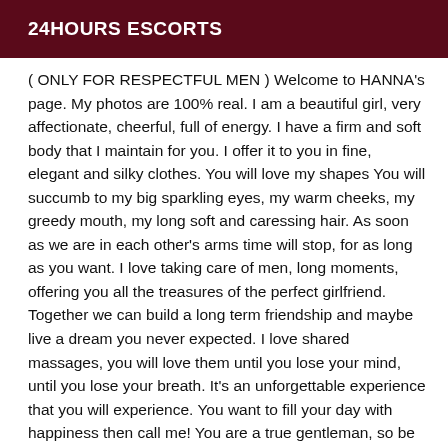24HOURS ESCORTS
( ONLY FOR RESPECTFUL MEN ) Welcome to HANNA's page. My photos are 100% real. I am a beautiful girl, very affectionate, cheerful, full of energy. I have a firm and soft body that I maintain for you. I offer it to you in fine, elegant and silky clothes. You will love my shapes You will succumb to my big sparkling eyes, my warm cheeks, my greedy mouth, my long soft and caressing hair. As soon as we are in each other's arms time will stop, for as long as you want. I love taking care of men, long moments, offering you all the treasures of the perfect girlfriend. Together we can build a long term friendship and maybe live a dream you never expected. I love shared massages, you will love them until you lose your mind, until you lose your breath. It's an unforgettable experience that you will experience. You want to fill your day with happiness then call me! You are a true gentleman, so be courteous, well educated, with impeccable hygiene. The good mood will set in and our